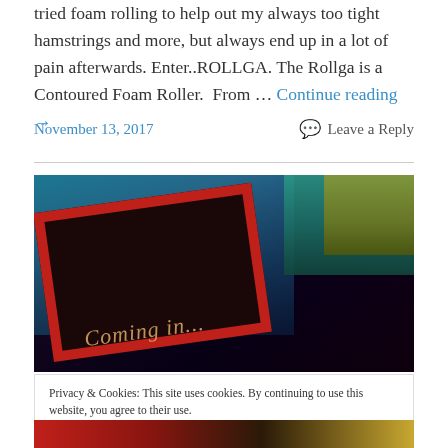tried foam rolling to help out my always too tight hamstrings and more, but always end up in a lot of pain afterwards. Enter..ROLLGA. The Rollga is a Contoured Foam Roller.  From … Continue reading →
November 13, 2017
Leave a Reply
[Figure (photo): Photo showing a red-framed chalkboard sign on a colorful background with blue, teal, and yellow paneling]
Privacy & Cookies: This site uses cookies. By continuing to use this website, you agree to their use.
To find out more, including how to control cookies, see here: Cookie Policy
Close and accept
[Figure (photo): Bottom strip of another photo showing colorful signage]